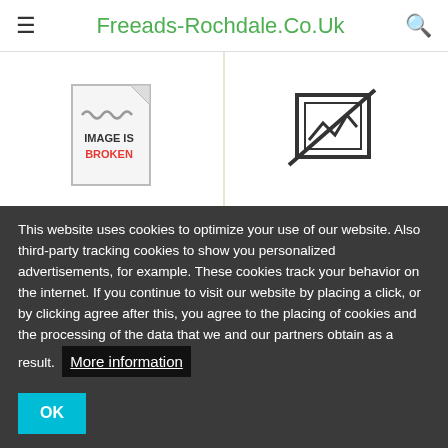Freeads-Rochdale.Co.Uk
[Figure (illustration): Broken image placeholder icon with text IMAGE IS BROKEN in red]
2 x Large industrial
£12.345.678
[Figure (illustration): Missing image icon showing a crossed-out image frame]
Ford Fiesta zetec s for
£5.484.848
This website uses cookies to optimize your use of our website. Also third-party tracking cookies to show you personalized advertisements, for example. These cookies track your behavior on the internet. If you continue to visit our website by placing a click, or by clicking agree after this, you agree to the placing of cookies and the processing of the data that we and our partners obtain as a result. More information